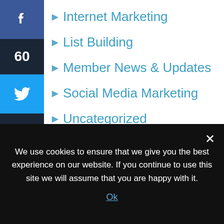Internet Marketing
List Building
Member News & Updates
Social Media Marketing
Uncategorized
Want to Accelerate
Discove
We use cookies to ensure that we give you the best experience on our website. If you continue to use this site we will assume that you are happy with it.
Ok